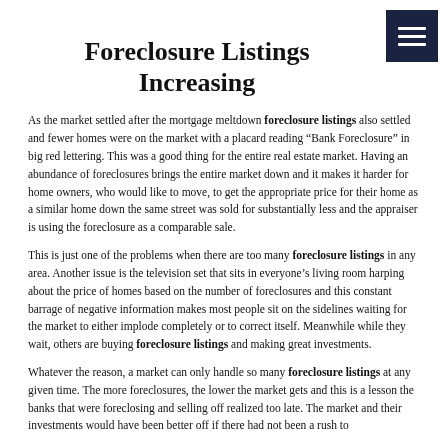Foreclosure Listings Increasing
As the market settled after the mortgage meltdown foreclosure listings also settled and fewer homes were on the market with a placard reading “Bank Foreclosure” in big red lettering. This was a good thing for the entire real estate market. Having an abundance of foreclosures brings the entire market down and it makes it harder for home owners, who would like to move, to get the appropriate price for their home as a similar home down the same street was sold for substantially less and the appraiser is using the foreclosure as a comparable sale.
This is just one of the problems when there are too many foreclosure listings in any area. Another issue is the television set that sits in everyone’s living room harping about the price of homes based on the number of foreclosures and this constant barrage of negative information makes most people sit on the sidelines waiting for the market to either implode completely or to correct itself. Meanwhile while they wait, others are buying foreclosure listings and making great investments.
Whatever the reason, a market can only handle so many foreclosure listings at any given time. The more foreclosures, the lower the market gets and this is a lesson the banks that were foreclosing and selling off realized too late. The market and their investments would have been better off if there had not been a rush to